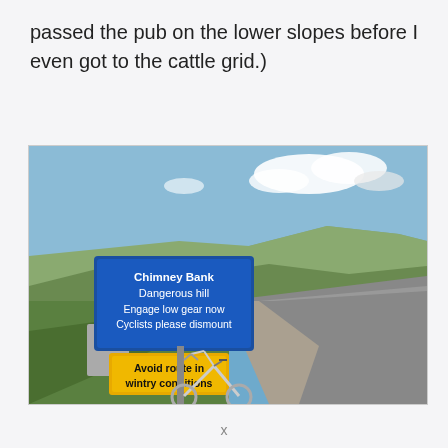passed the pub on the lower slopes before I even got to the cattle grid.)
[Figure (photo): Outdoor photo of a rural road on hillside (Chimney Bank area). A blue road sign reads 'Chimney Bank / Dangerous hill / Engage low gear now / Cyclists please dismount'. Below it a yellow sign reads 'Avoid route in wintry conditions'. A road bicycle is leaning against the sign post. Background shows moorland, a valley, and partly cloudy blue sky.]
x